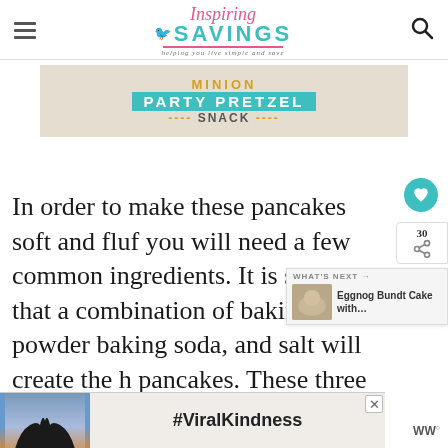Inspiring SAVINGS — helping you live simple and save
[Figure (infographic): Minion Party Pretzel Snack banner advertisement on beige background with teal and gold text]
In order to make these pancakes soft and fluf you will need a few common ingredients. It is secret that a combination of baking powder baking soda, and salt will create the h pancakes. These three ingredients complement eac
[Figure (infographic): #ViralKindness advertisement banner at bottom with heart hands silhouette image]